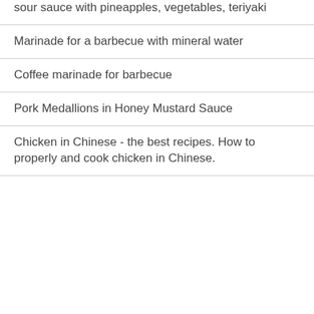sour sauce with pineapples, vegetables, teriyaki
Marinade for a barbecue with mineral water
Coffee marinade for barbecue
Pork Medallions in Honey Mustard Sauce
Chicken in Chinese - the best recipes. How to properly and cook chicken in Chinese.